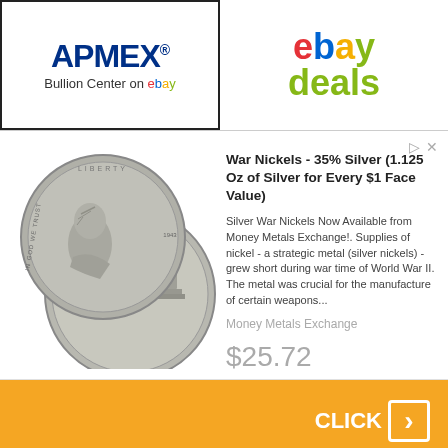[Figure (logo): APMEX Bullion Center on eBay logo and eBay Deals banner]
[Figure (photo): Two Jefferson War Nickels showing obverse (portrait) and reverse (Monticello building) sides]
War Nickels - 35% Silver (1.125 Oz of Silver for Every $1 Face Value)
Silver War Nickels Now Available from Money Metals Exchange!. Supplies of nickel - a strategic metal (silver nickels) - grew short during war time of World War II. The metal was crucial for the manufacture of certain weapons...
Money Metals Exchange
$25.72
CLICK